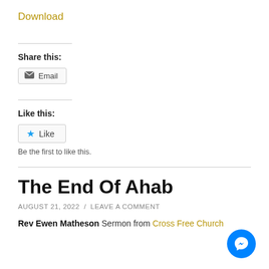Download
Share this:
Email
Like this:
Like
Be the first to like this.
The End Of Ahab
AUGUST 21, 2022 / LEAVE A COMMENT
Rev Ewen Matheson Sermon from Cross Free Church